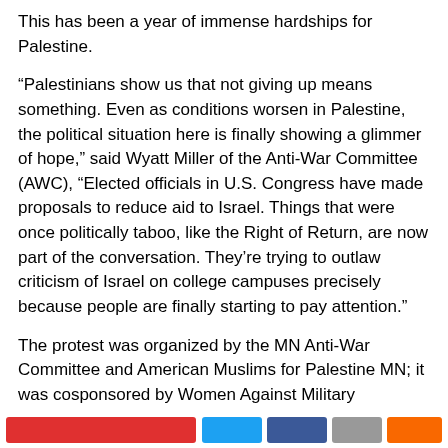This has been a year of immense hardships for Palestine.
“Palestinians show us that not giving up means something. Even as conditions worsen in Palestine, the political situation here is finally showing a glimmer of hope,” said Wyatt Miller of the Anti-War Committee (AWC), “Elected officials in U.S. Congress have made proposals to reduce aid to Israel. Things that were once politically taboo, like the Right of Return, are now part of the conversation. They’re trying to outlaw criticism of Israel on college campuses precisely because people are finally starting to pay attention.”
The protest was organized by the MN Anti-War Committee and American Muslims for Palestine MN; it was cosponsored by Women Against Military Madness, Jewish Voices for Peace, Climate Justice Committee, and Students for Justice in Palestine.
[Figure (other): Social sharing buttons bar at the bottom: red button, blue Twitter button, blue Facebook button, grey button, orange button]